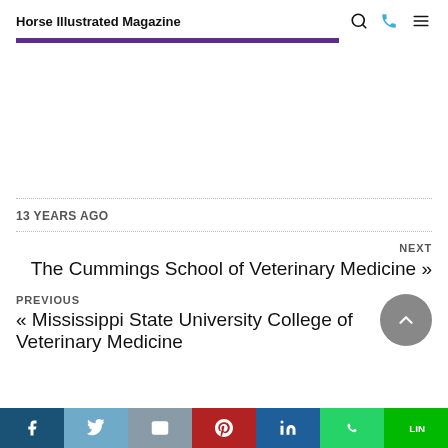Horse Illustrated Magazine
13 YEARS AGO
NEXT
The Cummings School of Veterinary Medicine »
PREVIOUS
« Mississippi State University College of Veterinary Medicine